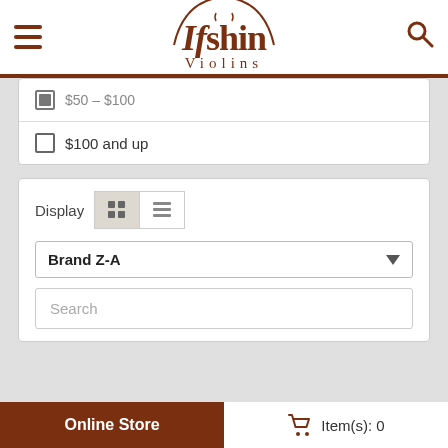[Figure (logo): Ifshin Violins logo with violin motif, brown serif text]
$50 – $100 (checked)
$100 and up
Display [grid view] [list view]
Brand Z-A (dropdown)
Search
[Figure (photo): BACH music book cover in teal/blue with white text and subtitle lines]
Online Store   Item(s): 0